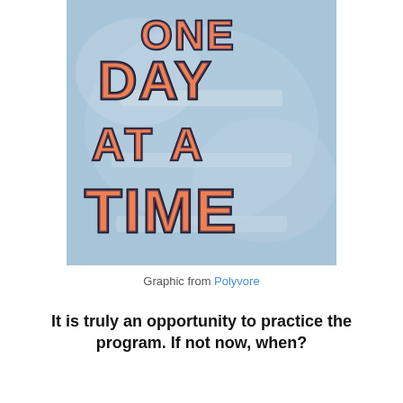[Figure (illustration): Colorful painted illustration on a light blue background with bold orange and pink lettered text reading ONE DAY AT A TIME in a handmade/folk-art style with dark outlines.]
Graphic from Polyvore
It is truly an opportunity to practice the program. If not now, when?